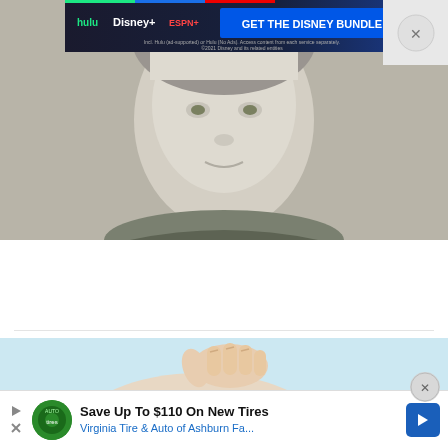[Figure (photo): Close-up photo of a person's face (young person, neutral expression, light skin), used as a yearbook-style photo advertisement background]
[Figure (illustration): Disney Bundle advertisement banner showing Hulu, Disney+, and ESPN+ logos with text GET THE DISNEY BUNDLE]
Look for any high school yearbook, it's free
Classmates.com | Sponsored
[Figure (illustration): Illustrated image of a hand pinching or squeezing a brain, on a light blue background]
[Figure (photo): Save Up To $110 On New Tires - Virginia Tire & Auto of Ashburn Fa... advertisement banner at the bottom]